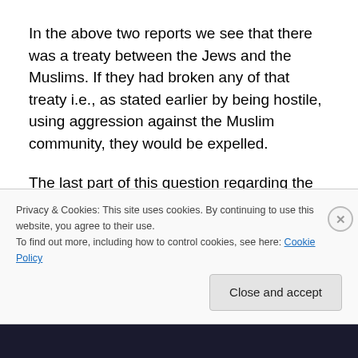In the above two reports we see that there was a treaty between the Jews and the Muslims. If they had broken any of that treaty i.e., as stated earlier by being hostile, using aggression against the Muslim community, they would be expelled.
The last part of this question regarding the expulsion of the Jews from Hijaz is, why were the Jews expelled from Hijaz? From a number of authentic early sources, we are told that the Jews mistreated, and or murdered, and had
Privacy & Cookies: This site uses cookies. By continuing to use this website, you agree to their use.
To find out more, including how to control cookies, see here: Cookie Policy
Close and accept